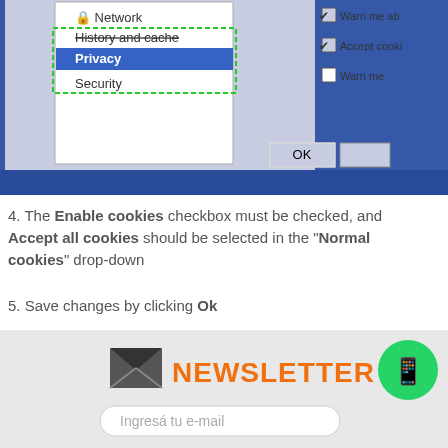[Figure (screenshot): Browser preferences dialog showing Privacy selected in left-side menu (with dashed green highlight box around History and cache and Privacy items). Right side shows checkboxes for Accept cookies and Warn me options. OK button visible at bottom right of dialog. Blue background.]
4. The Enable cookies checkbox must be checked, and Accept all cookies should be selected in the "Normal cookies" drop-down
5. Save changes by clicking Ok
Back to Top
[Figure (infographic): Newsletter signup area with envelope icon and orange NEWSLETTER text, WhatsApp green bubble icon on right, and email input field below.]